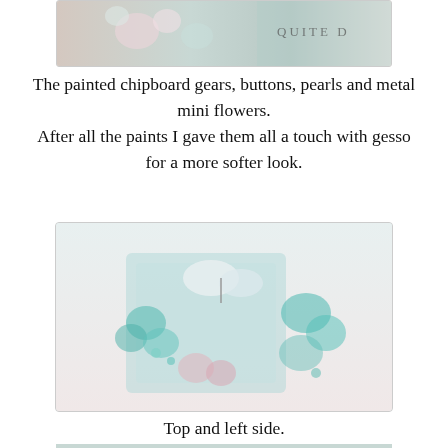[Figure (photo): Partial view of a decorated craft piece showing painted chipboard gears, buttons, pearls, and metal mini flowers in teal and pink tones against a background with text 'QUITE D']
The painted chipboard gears, buttons, pearls and metal mini flowers.
After all the paints I gave them all a touch with gesso for a more softer look.
[Figure (photo): Top and left side view of a decorated teal and pink craft box or container with butterfly embellishment, flowers, and mixed media elements]
Top and left side.
[Figure (photo): Close-up of decorative flowers and embellishments in teal, pink, and cream tones on a craft piece, with a clock face visible in the background]